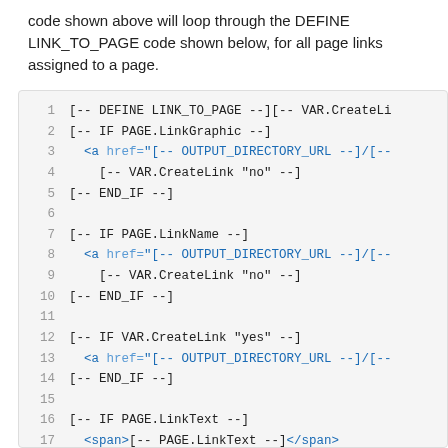code shown above will loop through the DEFINE LINK_TO_PAGE code shown below, for all page links assigned to a page.
[Figure (screenshot): Code block showing template/macro code with line numbers 1-17. Lines contain DEFINE LINK_TO_PAGE, IF PAGE.LinkGraphic, IF PAGE.LinkName, IF VAR.CreateLink, IF PAGE.LinkText constructs with HTML anchor tags. Blue highlighted elements are HTML tags (a, span) and href attribute values.]